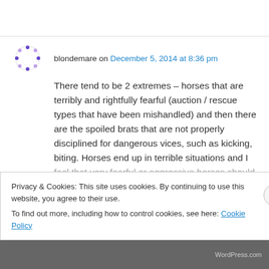blondemare on December 5, 2014 at 8:36 pm
There tend to be 2 extremes – horses that are terribly and rightfully fearful (auction / rescue types that have been mishandled) and then there are the spoiled brats that are not properly disciplined for dangerous vices, such as kicking, biting. Horses end up in terrible situations and I feel that very fearful or aggressive horses should
Privacy & Cookies: This site uses cookies. By continuing to use this website, you agree to their use.
To find out more, including how to control cookies, see here: Cookie Policy
Close and accept